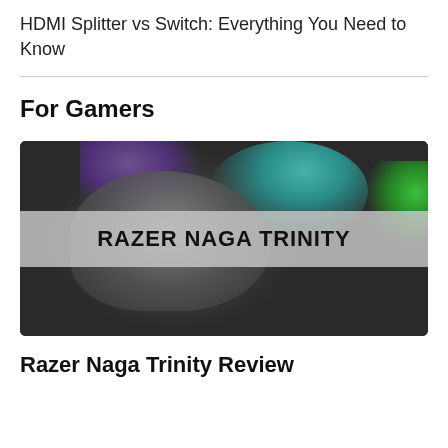HDMI Splitter vs Switch: Everything You Need to Know
For Gamers
[Figure (photo): Gaming mouse (Razer Naga Trinity) on dark background with colorful RGB lighting (teal, green, purple), with a semi-transparent banner overlay reading 'RAZER NAGA TRINITY']
Razer Naga Trinity Review